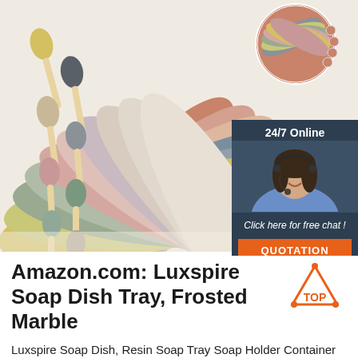[Figure (photo): Product photo showing colorful silicone spoons in various pastel colors (yellow, grey, pink, sage, beige) arranged vertically on the left, and a fan arrangement of colorful silicone mats/plates in pastel rainbow colors in the center-right. A chat widget overlay in the top-right shows '24/7 Online', a female customer service agent with headset, 'Click here for free chat!' text, and an orange QUOTATION button.]
Amazon.com: Luxspire Soap Dish Tray, Frosted Marble
[Figure (logo): Orange TOP badge with triangle/arrow pointing up and dots]
Luxspire Soap Dish, Resin Soap Tray Soap Holder Container Box, Marble Pattern Oval Soap